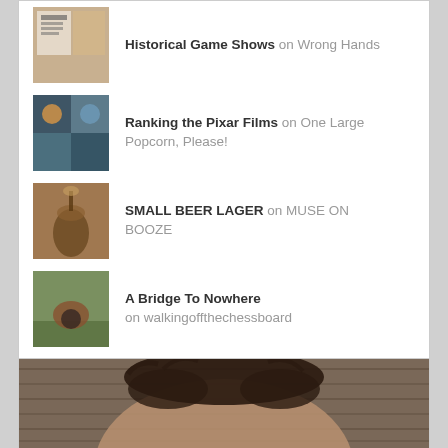Historical Game Shows on Wrong Hands
Ranking the Pixar Films on One Large Popcorn, Please!
SMALL BEER LAGER on MUSE ON BOOZE
A Bridge To Nowhere on walkingoffthechessboard
Wiener Fest! on mydangblog
[Figure (photo): Portrait photo of a person with dark curly hair against a wooden background]